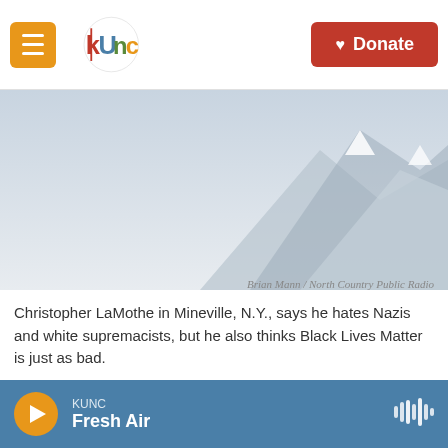KUNC — Donate
[Figure (photo): Mountain landscape background image, light grey/blue tones]
Brian Mann / North Country Public Radio
Christopher LaMothe in Mineville, N.Y., says he hates Nazis and white supremacists, but he also thinks Black Lives Matter is just as bad.
One of the things we've learned over the past year
KUNC Fresh Air